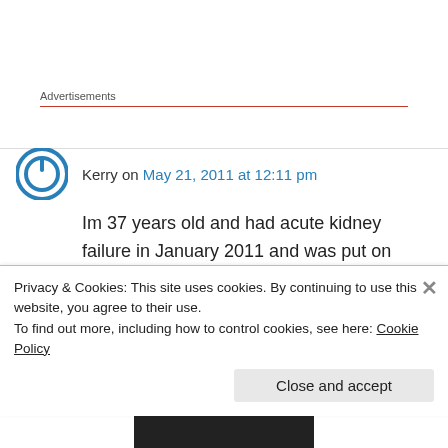Advertisements
Kerry on May 21, 2011 at 12:11 pm
Im 37 years old and had acute kidney failure in January 2011 and was put on dialysis, as of May 5th I have been taken off dialysis because my kidneys are working at 31%.
When I started dialysis I was scared but it did
Privacy & Cookies: This site uses cookies. By continuing to use this website, you agree to their use.
To find out more, including how to control cookies, see here: Cookie Policy
Close and accept